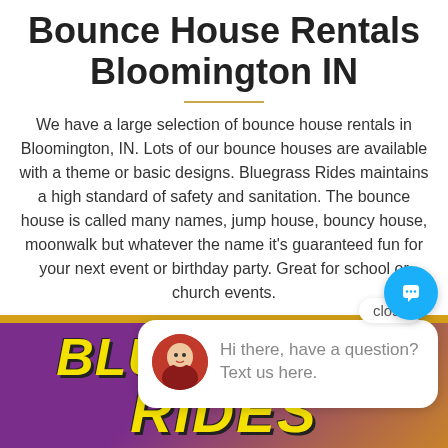Bounce House Rentals Bloomington IN
We have a large selection of bounce house rentals in Bloomington, IN. Lots of our bounce houses are available with a theme or basic designs. Bluegrass Rides maintains a high standard of safety and sanitation. The bounce house is called many names, jump house, bouncy house, moonwalk but whatever the name it's guaranteed fun for your next event or birthday party. Great for school or church events.
Bo...
[Figure (screenshot): Chat popup with avatar photo of a woman, message 'Hi there, have a question? Text us here.' and close button]
[Figure (logo): Bluegrass Rides logo on purple/orange gradient background with large yellow bold italic text reading BLUEGRASS RIDES]